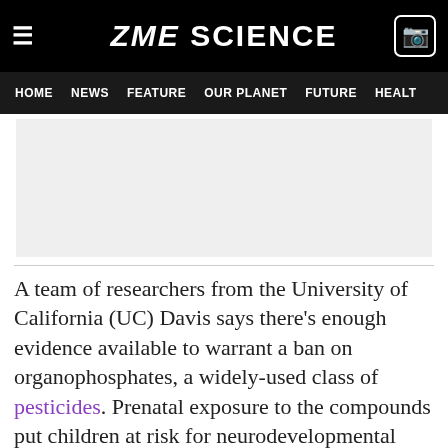ZME SCIENCE
HOME  NEWS  FEATURE  OUR PLANET  FUTURE  HEALTH
[Figure (other): Advertisement placeholder / grey banner image area]
A team of researchers from the University of California (UC) Davis says there’s enough evidence available to warrant a ban on organophosphates, a widely-used class of pesticides. Prenatal exposure to the compounds put children at risk for neurodevelopmental disorders, they explain, calling for immediate government